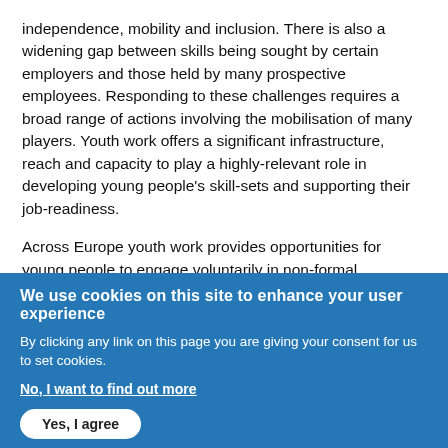independence, mobility and inclusion. There is also a widening gap between skills being sought by certain employers and those held by many prospective employees. Responding to these challenges requires a broad range of actions involving the mobilisation of many players. Youth work offers a significant infrastructure, reach and capacity to play a highly-relevant role in developing young people's skill-sets and supporting their job-readiness.
Across Europe youth work provides opportunities for young people to engage voluntarily in non-formal educational and developmental programmes and activities. Youth workers are the experts at working with young people, including reaching out to marginalised youth and minority groups. Through their engagement in youth work, young people attain specific and transversal skills which enhance employability. These 'soft' skills include learning to learn, social and civic competence, leadership, communication, teamwork, and
We use cookies on this site to enhance your user experience
By clicking any link on this page you are giving your consent for us to set cookies.
No, I want to find out more
Yes, I agree